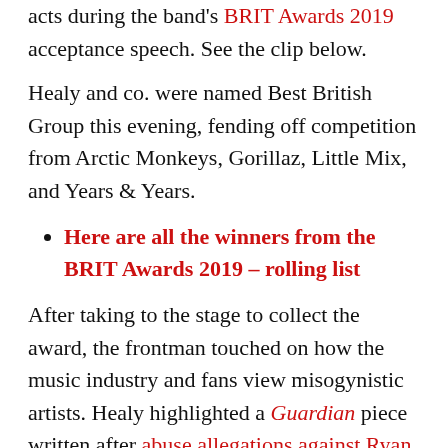acts during the band's BRIT Awards 2019 acceptance speech. See the clip below.
Healy and co. were named Best British Group this evening, fending off competition from Arctic Monkeys, Gorillaz, Little Mix, and Years & Years.
Here are all the winners from the BRIT Awards 2019 – rolling list
After taking to the stage to collect the award, the frontman touched on how the music industry and fans view misogynistic artists. Healy highlighted a Guardian piece written after abuse allegations against Ryan Adams came to light.